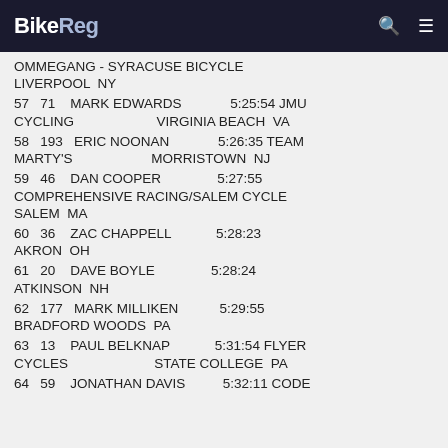BikeReg
OMMEGANG - SYRACUSE BICYCLE  LIVERPOOL  NY
57  71  MARK EDWARDS  5:25:54 JMU CYCLING  VIRGINIA BEACH  VA
58  193  ERIC NOONAN  5:26:35 TEAM MARTY'S  MORRISTOWN  NJ
59  46  DAN COOPER  5:27:55 COMPREHENSIVE RACING/SALEM CYCLE  SALEM  MA
60  36  ZAC CHAPPELL  5:28:23 AKRON  OH
61  20  DAVE BOYLE  5:28:24 ATKINSON  NH
62  177  MARK MILLIKEN  5:29:55 BRADFORD WOODS  PA
63  13  PAUL BELKNAP  5:31:54 FLYER CYCLES  STATE COLLEGE  PA
64  59  JONATHAN DAVIS  5:32:11 CODE